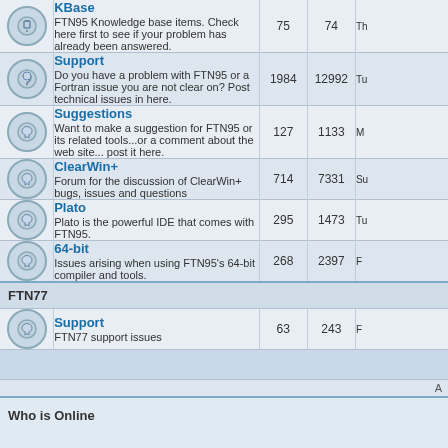| Icon | Forum | Topics | Posts | Last Post |
| --- | --- | --- | --- | --- |
| [icon] | KBase
FTN95 Knowledge base items. Check here first to see if your problem has already been answered. | 75 | 74 | Th |
| [icon] | Support
Do you have a problem with FTN95 or a Fortran issue you are not clear on? Post technical issues in here. | 1984 | 12992 | Tu |
| [icon] | Suggestions
Want to make a suggestion for FTN95 or its related tools...or a comment about the web site... post it here. | 127 | 1133 | M |
| [icon] | ClearWin+
Forum for the discussion of ClearWin+ bugs, issues and questions | 714 | 7331 | Su |
| [icon] | Plato
Plato is the powerful IDE that comes with FTN95. | 295 | 1473 | Tu |
| [icon] | 64-bit
Issues arising when using FTN95's 64-bit compiler and tools. | 268 | 2397 | F |
FTN77
| Icon | Forum | Topics | Posts | Last Post |
| --- | --- | --- | --- | --- |
| [icon] | Support
FTN77 support issues | 63 | 243 | F |
A
Who is Online